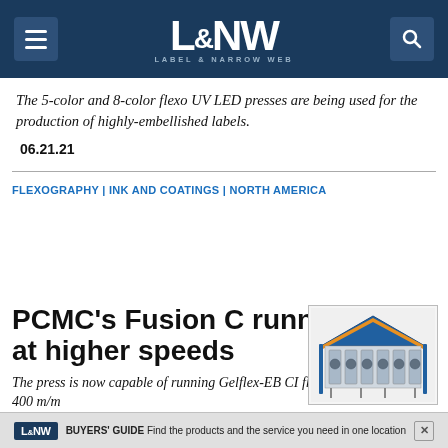L&NW Label & Narrow Web
The 5-color and 8-color flexo UV LED presses are being used for the production of highly-embellished labels.
06.21.21
FLEXOGRAPHY | INK AND COATINGS | NORTH AMERICA
[Figure (photo): Image of PCMC Fusion C flexo printing press machine, shown at an angle with blue and white structure]
PCMC's Fusion C running inks at higher speeds
The press is now capable of running Gelflex-EB CI flexo printing inks at 400 m/m
L&NW BUYERS' GUIDE Find the products and the service you need in one location